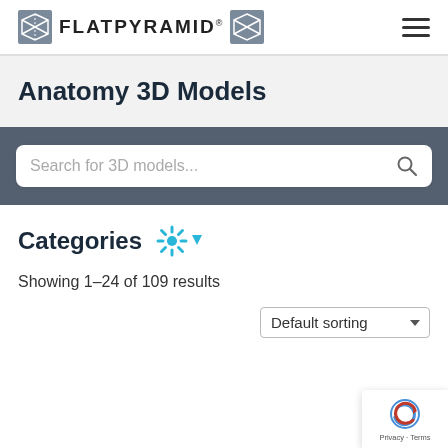FlatPyramid
Anatomy 3D Models
Search for 3D models...
Categories
Showing 1–24 of 109 results
Default sorting